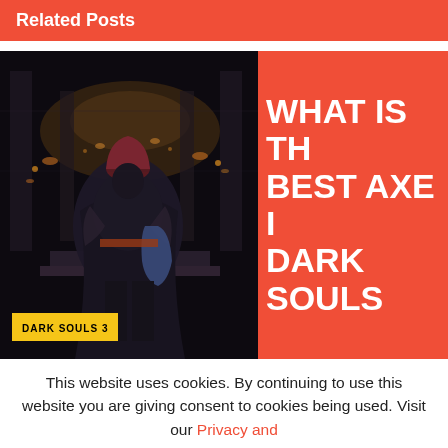Related Posts
[Figure (screenshot): Dark Souls 3 game scene showing a dark-robed figure seated on a throne in a dimly lit castle interior. A yellow badge reads 'DARK SOULS 3'. Beside it is a red panel with white bold text reading 'WHAT IS THE BEST AXE IN DARK SOULS'.]
This website uses cookies. By continuing to use this website you are giving consent to cookies being used. Visit our Privacy and